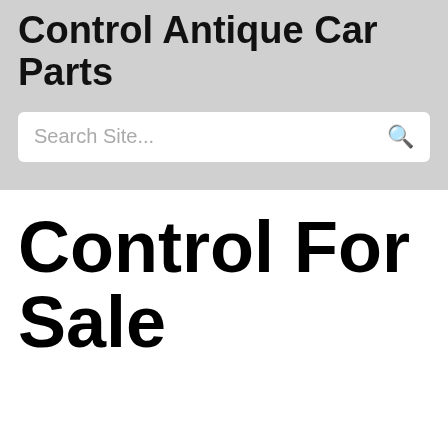Control Antique Car Parts
Search Site...
Control For Sale